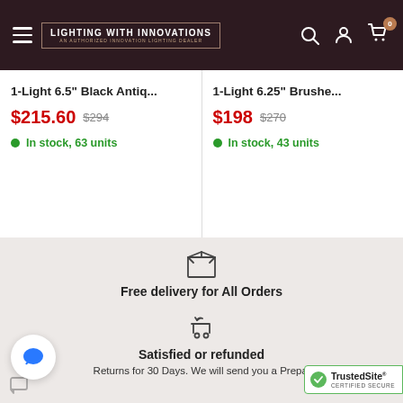Lighting With Innovations - An Authorized Innovation Lighting Dealer
1-Light 6.5" Black Antiq... $215.60 $294 In stock, 63 units
1-Light 6.25" Brushe... $198 $270 In stock, 43 units
[Figure (illustration): Box/package icon representing free delivery]
Free delivery for All Orders
[Figure (illustration): Shopping cart with return arrow icon representing satisfied or refunded policy]
Satisfied or refunded
Returns for 30 Days. We will send you a Prepai
[Figure (logo): TrustedSite Certified Secure badge]